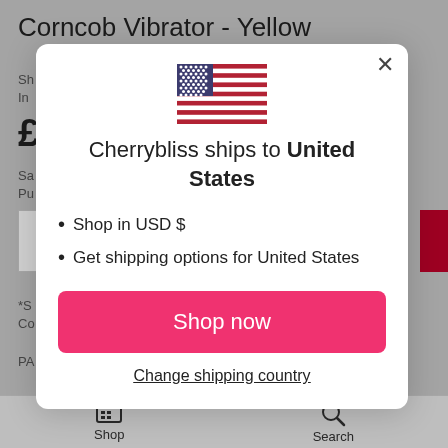Corncob Vibrator - Yellow
Cherrybliss ships to United States
Shop in USD $
Get shipping options for United States
Shop now
Change shipping country